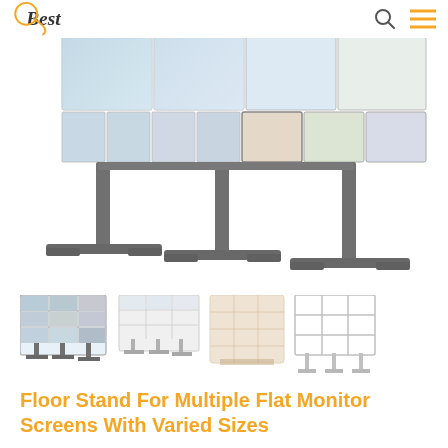Best [logo] - navigation header with search and menu icons
[Figure (photo): Product photo of a floor stand for multiple flat monitor screens with varied sizes. Three T-shaped metal poles support a wide multi-screen video wall display showing map imagery. The stand has a dark grey finish with horizontal base feet.]
[Figure (photo): Four thumbnail variants of the floor stand product: first showing a 3x3 video wall in color, second a lighter 3x3 variant, third a taller enclosed cabinet variant in faded grey, fourth a frame-only open structure variant in light grey.]
Floor Stand For Multiple Flat Monitor Screens With Varied Sizes